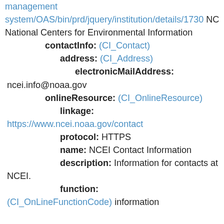management
system/OAS/bin/prd/jquery/institution/details/1730 NC
National Centers for Environmental Information
contactInfo:  (CI_Contact)
address:  (CI_Address)
electronicMailAddress:
ncei.info@noaa.gov
onlineResource:  (CI_OnlineResource)
linkage:
https://www.ncei.noaa.gov/contact
protocol:  HTTPS
name:  NCEI Contact Information
description:  Information for contacts at NCEI.
function:
(CI_OnLineFunctionCode) information